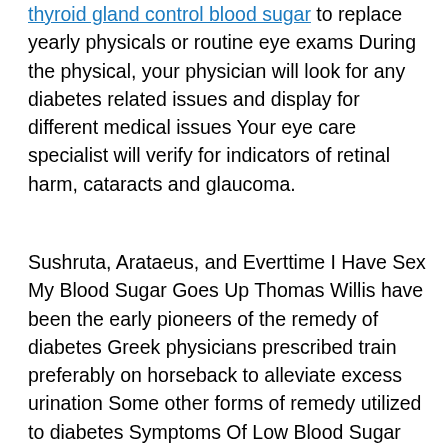thyroid gland control blood sugar to replace yearly physicals or routine eye exams During the physical, your physician will look for any diabetes related issues and display for different medical issues Your eye care specialist will verify for indicators of retinal harm, cataracts and glaucoma.
Sushruta, Arataeus, and Everttime I Have Sex My Blood Sugar Goes Up Thomas Willis have been the early pioneers of the remedy of diabetes Greek physicians prescribed train preferably on horseback to alleviate excess urination Some other forms of remedy utilized to diabetes Symptoms Of Low Blood Sugar embrace wine, overfeeding to compensate for loss of fluid weight, hunger diet, and so on Chief Editor Dr Mark Yorek, from the University